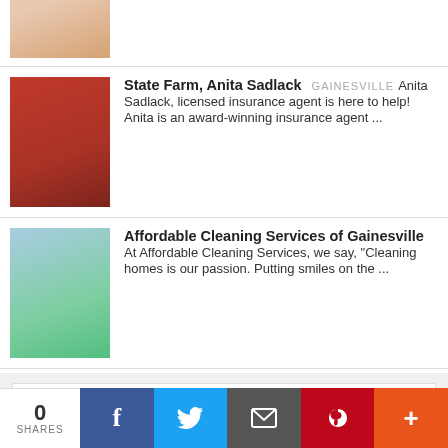[Figure (photo): Partially cropped photo of a person at the top of the page]
State Farm, Anita Sadlack  GAINESVILLE  Anita Sadlack, licensed insurance agent is here to help! Anita is an award-winning insurance agent ...
[Figure (photo): Photo of Anita Sadlack, a woman in a red top with long dark hair]
Affordable Cleaning Services of Gainesville  At Affordable Cleaning Services, we say, "Cleaning homes is our passion. Putting smiles on the ..."
[Figure (photo): Photo of a woman with glasses and curly dark hair in a green/teal top]
Search
ADVANCED SEARCH
[Figure (photo): Ad banner for Customized Gifting]
CUSTOMIZED GIFTING
Thank yous, seasonal, pop-
0 SHARES